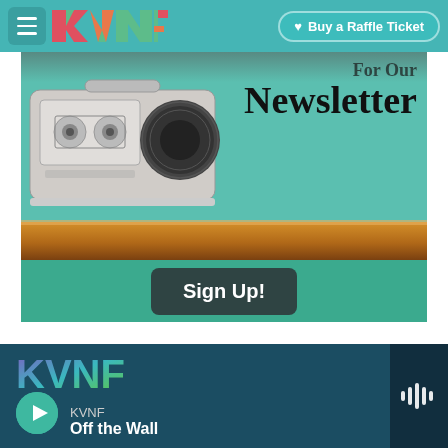KVNF | Buy a Raffle Ticket
[Figure (photo): Newsletter signup banner with a vintage boombox/cassette player on a wooden shelf against a teal/green background. Text reads 'For Our Newsletter' with a Sign Up! button below.]
Newsletter
Sign Up!
[Figure (logo): KVNF radio station logo in footer with colorful gradient letters, play button, station name KVNF, show name Off the Wall, and waveform icon]
KVNF
Off the Wall